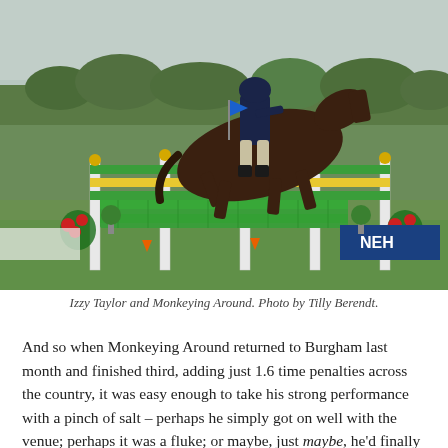[Figure (photo): Equestrian show jumping photo: a rider in dark navy jacket and helmet on a dark brown horse leaping over a large green and yellow striped jump with white poles, red flowers decorating the base, at an outdoor equestrian event with green grass and trees in the background. A blue NEH sponsor banner is visible on the right.]
Izzy Taylor and Monkeying Around. Photo by Tilly Berendt.
And so when Monkeying Around returned to Burgham last month and finished third, adding just 1.6 time penalties across the country, it was easy enough to take his strong performance with a pinch of salt – perhaps he simply got on well with the venue; perhaps it was a fluke; or maybe, just maybe, he'd finally figured it all out. Much hung in the balance of this Burnham Market run, and when he led the